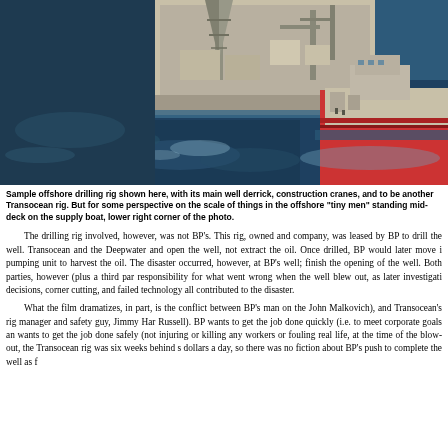[Figure (photo): Aerial photograph of an offshore drilling rig with its main well derrick, construction cranes, and a supply boat with red hull visible in lower right corner. Open ocean surrounds the vessels.]
Sample offshore drilling rig shown here, with its main well derrick, construction cranes, and to be another Transocean rig. But for some perspective on the scale of things in the offshore "tiny men" standing mid-deck on the supply boat, lower right corner of the photo.
The drilling rig involved, however, was not BP's. This rig, owned and company, was leased by BP to drill the well. Transocean and the Deepwater and open the well, not extract the oil. Once drilled, BP would later move i pumping unit to harvest the oil. The disaster occurred, however, at BP's well; finish the opening of the well. Both parties, however (plus a third par responsibility for what went wrong when the well blew out, as later investigati decisions, corner cutting, and failed technology all contributed to the disaster.
What the film dramatizes, in part, is the conflict between BP's man on the John Malkovich), and Transocean's rig manager and safety guy, Jimmy Har Russell). BP wants to get the job done quickly (i.e. to meet corporate goals an wants to get the job done safely (not injuring or killing any workers or fouling real life, at the time of the blow-out, the Transocean rig was six weeks behind s dollars a day, so there was no fiction about BP's push to complete the well as f